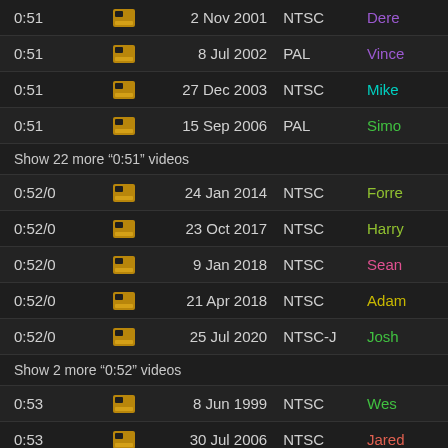| Time |  | Date | Format | User |
| --- | --- | --- | --- | --- |
| 0:51 | icon | 2 Nov 2001 | NTSC | Dere... |
| 0:51 | icon | 8 Jul 2002 | PAL | Vince... |
| 0:51 | icon | 27 Dec 2003 | NTSC | Mike... |
| 0:51 | icon | 15 Sep 2006 | PAL | Simo... |
| Show 22 more "0:51" videos |  |  |  |  |
| 0:52/0 | icon | 24 Jan 2014 | NTSC | Forre... |
| 0:52/0 | icon | 23 Oct 2017 | NTSC | Harry... |
| 0:52/0 | icon | 9 Jan 2018 | NTSC | Sean... |
| 0:52/0 | icon | 21 Apr 2018 | NTSC | Adam... |
| 0:52/0 | icon | 25 Jul 2020 | NTSC-J | Josh... |
| Show 2 more "0:52" videos |  |  |  |  |
| 0:53 | icon | 8 Jun 1999 | NTSC | Wes... |
| 0:53 | icon | 30 Jul 2006 | NTSC | Jared... |
| 0:53/0 | icon | 20 May 2014 | NTSC | Eric D... |
| 0:53/0 | icon | 5 Dec 2014 | NTSC-J | Saku... |
| 0:53/0 | icon | 23 May 2018 | PAL | Joon... |